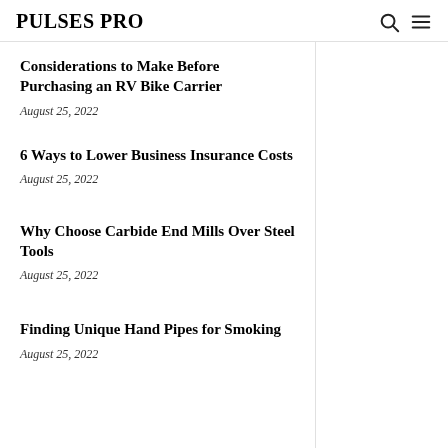PULSES PRO
Considerations to Make Before Purchasing an RV Bike Carrier
August 25, 2022
6 Ways to Lower Business Insurance Costs
August 25, 2022
Why Choose Carbide End Mills Over Steel Tools
August 25, 2022
Finding Unique Hand Pipes for Smoking
August 25, 2022